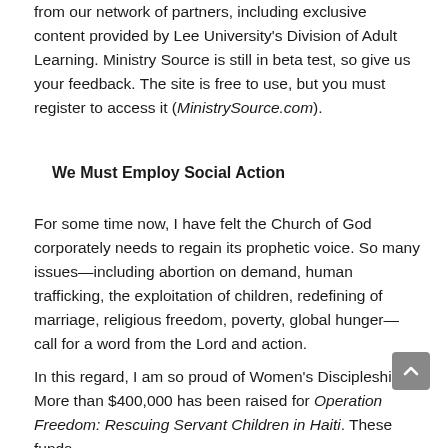from our network of partners, including exclusive content provided by Lee University's Division of Adult Learning. Ministry Source is still in beta test, so give us your feedback. The site is free to use, but you must register to access it (MinistrySource.com).
We Must Employ Social Action
For some time now, I have felt the Church of God corporately needs to regain its prophetic voice. So many issues—including abortion on demand, human trafficking, the exploitation of children, redefining of marriage, religious freedom, poverty, global hunger—call for a word from the Lord and action.
In this regard, I am so proud of Women's Discipleship. More than $400,000 has been raised for Operation Freedom: Rescuing Servant Children in Haiti. These funds